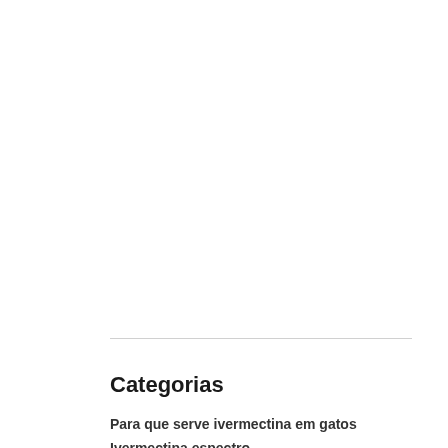Categorias
Para que serve ivermectina em gatos
Ivermectina espectro
Inspiração